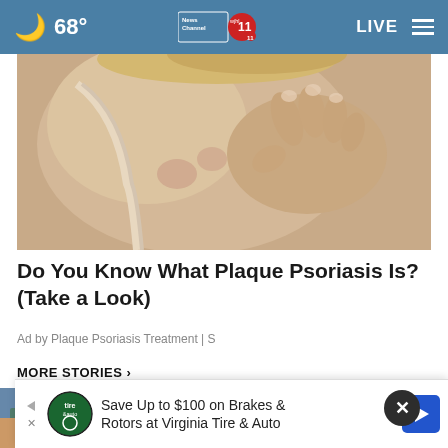68° News Channel 11 wjhl.com 11 LIVE
[Figure (photo): Close-up photo of a person's bare shoulder and upper back, with hand reaching across, showing skin condition (psoriasis context)]
Do You Know What Plaque Psoriasis Is? (Take a Look)
Ad by Plaque Psoriasis Treatment | S
MORE STORIES ›
Bucs improve to 2-0 with clean sheet
Amendment 3 campaign begins across
Save Up to $100 on Brakes & Rotors at Virginia Tire & Auto